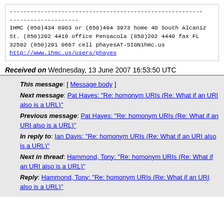IHMC (850)434 8903 or (650)494 3973 home
40 South Alcaniz St. (850)202 4416 office
Pensacola (850)202 4440 fax
FL 32502 (850)291 0667 cell
phayesAT-SIGNihmc.us
http://www.ihmc.us/users/phayes
Received on Wednesday, 13 June 2007 16:53:50 UTC
This message: [ Message body ]
Next message: Pat Hayes: "Re: homonym URIs (Re: What if an URI also is a URL)"
Previous message: Pat Hayes: "Re: homonym URIs (Re: What if an URI also is a URL)"
In reply to: Ian Davis: "Re: homonym URIs (Re: What if an URI also is a URL)"
Next in thread: Hammond, Tony: "Re: homonym URIs (Re: What if an URI also is a URL)"
Reply: Hammond, Tony: "Re: homonym URIs (Re: What if an URI also is a URL)"